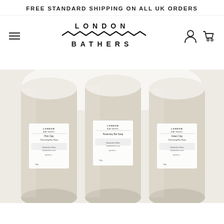FREE STANDARD SHIPPING ON ALL UK ORDERS
[Figure (logo): London Bathers brand logo with zigzag wave pattern between LONDON and BATHERS text]
[Figure (photo): Three London Bathers soap products in beige pillow-box packaging with product labels, arranged side by side against a light background]